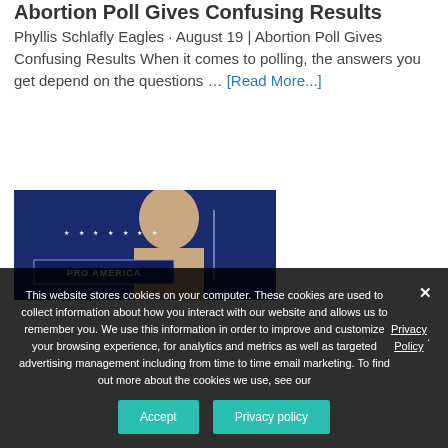Abortion Poll Gives Confusing Results
Phyllis Schlafly Eagles · August 19 | Abortion Poll Gives Confusing Results When it comes to polling, the answers you get depend on the questions … [Read More...]
[Figure (photo): Photo of a man at a podium with a dark blue background and a 'PRO AMERICA' banner with stars]
This website stores cookies on your computer. These cookies are used to collect information about how you interact with our website and allows us to remember you. We use this information in order to improve and customize your browsing experience, for analytics and metrics as well as targeted advertising management including from time to time email marketing. To find out more about the cookies we use, see our Privacy Policy.